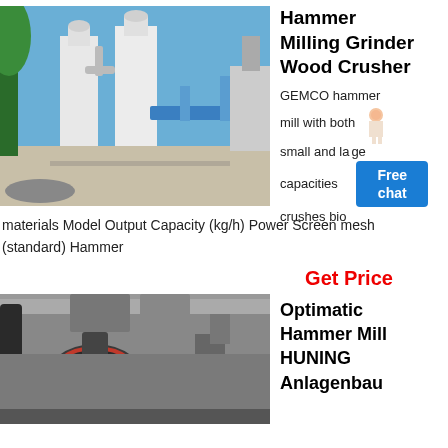[Figure (photo): Outdoor industrial hammer mill / milling grinder installation with large white cylindrical towers, blue conveyor structure, and piping, set against a clear blue sky.]
Hammer Milling Grinder Wood Crusher
GEMCO hammer mill with both small and large capacities crushes bio materials Model Output Capacity (kg/h) Power Screen mesh (standard) Hammer
Get Price
[Figure (photo): Indoor industrial hammer mill machinery close-up showing dark metallic cylindrical mill body with red ring detail, overhead ductwork and industrial shed ceiling in background.]
Optimatic Hammer Mill HUNING Anlagenbau